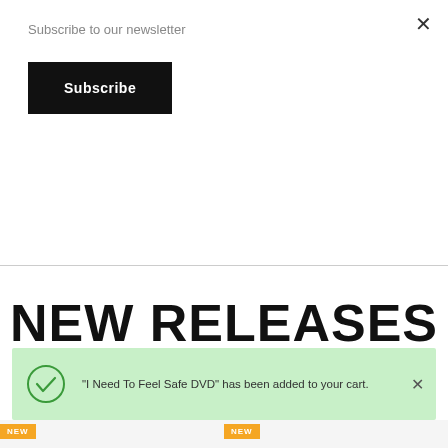Subscribe to our newsletter
Subscribe
programs will help you heal and begin to live the life you were intended to live.
NEW RELEASES
"I Need To Feel Safe DVD" has been added to your cart.